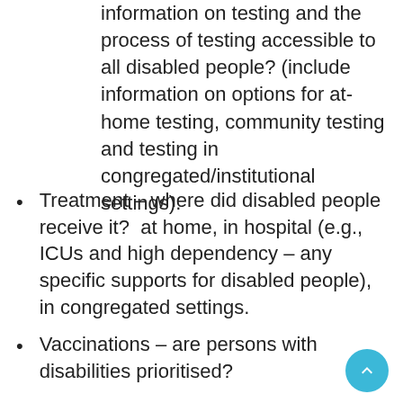information on testing and the process of testing accessible to all disabled people? (include information on options for at-home testing, community testing and testing in congregated/institutional settings).
Treatment – where did disabled people receive it?  at home, in hospital (e.g., ICUs and high dependency – any specific supports for disabled people), in congregated settings.
Vaccinations – are persons with disabilities prioritised?